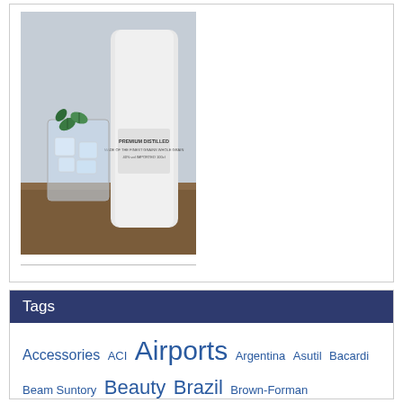[Figure (photo): A bottle of premium distilled spirit next to a glass with ice and mint leaves on a wooden surface]
Tags
Accessories ACI Airports Argentina Asutil Bacardi Beam Suntory Beauty Brazil Brown-Forman Canada Caribbean Confectionery Coronavirus Cosmetics Cruise DFA DFS Dufry Duty Free Duty Free Americas Duty Free Dynamics Estee Lauder FDFA fragrance Fragrances IAADFS IATA International Latin America ...